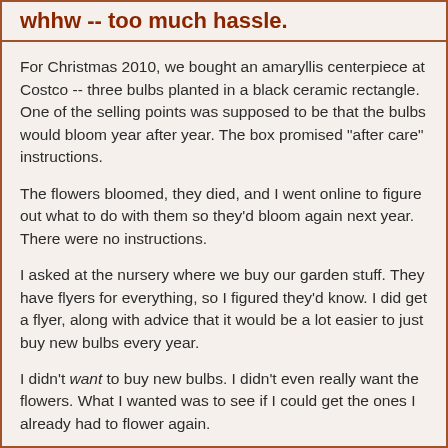whhw -- too much hassle.
For Christmas 2010, we bought an amaryllis centerpiece at Costco -- three bulbs planted in a black ceramic rectangle. One of the selling points was supposed to be that the bulbs would bloom year after year. The box promised "after care" instructions.
The flowers bloomed, they died, and I went online to figure out what to do with them so they'd bloom again next year. There were no instructions.
I asked at the nursery where we buy our garden stuff. They have flyers for everything, so I figured they'd know. I did get a flyer, along with advice that it would be a lot easier to just buy new bulbs every year.
I didn't want to buy new bulbs. I didn't even really want the flowers. What I wanted was to see if I could get the ones I already had to flower again.
Christmas 2011 came and went and my bulbs just sat there